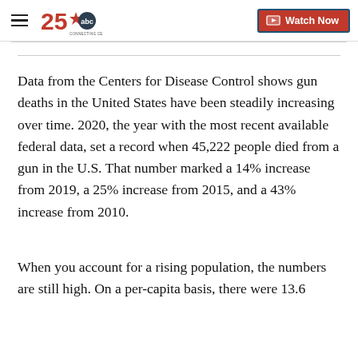25 ABC Connecting Central Texas | Watch Now
Data from the Centers for Disease Control shows gun deaths in the United States have been steadily increasing over time. 2020, the year with the most recent available federal data, set a record when 45,222 people died from a gun in the U.S. That number marked a 14% increase from 2019, a 25% increase from 2015, and a 43% increase from 2010.
When you account for a rising population, the numbers are still high. On a per-capita basis, there were 13.6